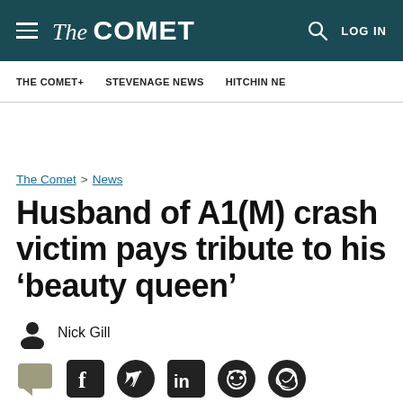The Comet — LOG IN
THE COMET+ | STEVENAGE NEWS | HITCHIN NE
The Comet > News
Husband of A1(M) crash victim pays tribute to his ‘beauty queen’
Nick Gill